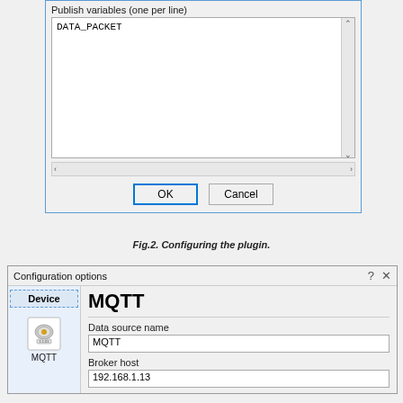[Figure (screenshot): Dialog window showing 'Publish variables (one per line)' text area containing 'DATA_PACKET', with OK and Cancel buttons at the bottom.]
Fig.2. Configuring the plugin.
[Figure (screenshot): Configuration options dialog with 'Device' panel on left showing MQTT icon and 'MQTT' label. Right panel shows MQTT title, Data source name field with 'MQTT', and Broker host field with '192.168.1.13'.]